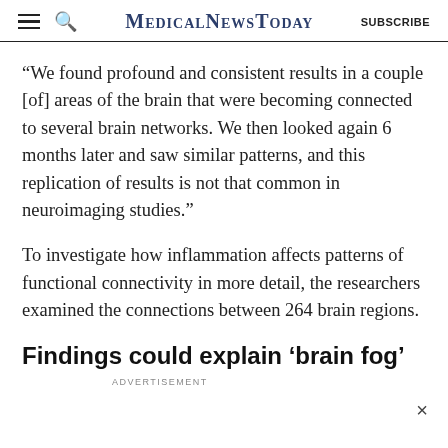MedicalNewsToday  SUBSCRIBE
“We found profound and consistent results in a couple [of] areas of the brain that were becoming connected to several brain networks. We then looked again 6 months later and saw similar patterns, and this replication of results is not that common in neuroimaging studies.”
To investigate how inflammation affects patterns of functional connectivity in more detail, the researchers examined the connections between 264 brain regions.
Findings could explain ‘brain fog’
ADVERTISEMENT